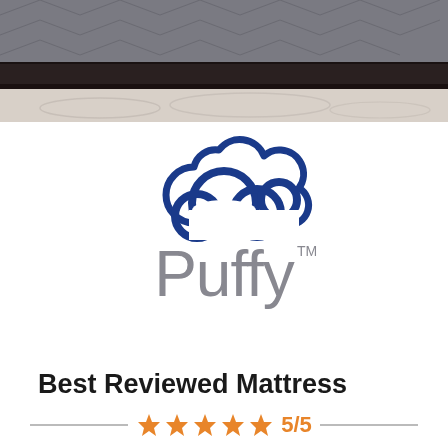[Figure (photo): Photo of a mattress on a dark wooden bed frame, showing quilted gray fabric, viewed from the side at close range.]
[Figure (logo): Puffy mattress logo: a blue cloud outline above the word 'Puffy' in gray with TM superscript.]
Best Reviewed Mattress
5/5 stars rating with star icons and decorative lines